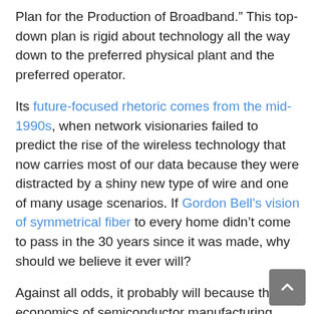Plan for the Production of Broadband.” This top-down plan is rigid about technology all the way down to the preferred physical plant and the preferred operator.
Its future-focused rhetoric comes from the mid-1990s, when network visionaries failed to predict the rise of the wireless technology that now carries most of our data because they were distracted by a shiny new type of wire and one of many usage scenarios. If Gordon Bell’s vision of symmetrical fiber to every home didn’t come to pass in the 30 years since it was made, why should we believe it ever will?
Against all odds, it probably will because the economics of semiconductor manufacturing favor generality over efficiency. But usage doesn’t follow network design and the presence of symmetrical networks doesn’t dictate symmetrical applications. We’ve had symmetrical LANs, campus networks, and backbones since the 1970s, so the applications would be here already if that were the case.
The role of infrastructure is to support the activities humans